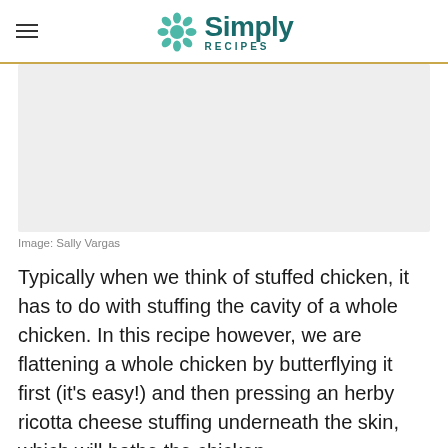Simply Recipes
[Figure (photo): Placeholder image area (gray rectangle)]
Image: Sally Vargas
Typically when we think of stuffed chicken, it has to do with stuffing the cavity of a whole chicken. In this recipe however, we are flattening a whole chicken by butterflying it first (it's easy!) and then pressing an herby ricotta cheese stuffing underneath the skin, which will bathe the chicken